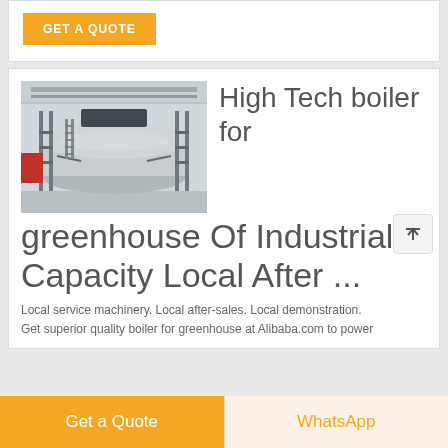GET A QUOTE
[Figure (photo): Industrial boiler machine in a large indoor facility, metallic cylindrical tank with scaffolding and pipes.]
High Tech boiler for greenhouse Of Industrial Capacity Local After ...
Local service machinery. Local after-sales. Local demonstration. Get superior quality boiler for greenhouse at Alibaba.com to power
Get a Quote
WhatsApp